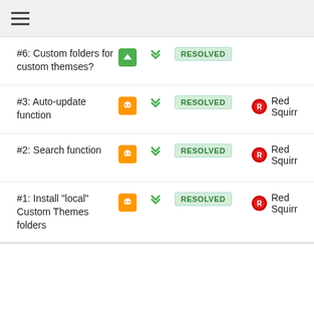☰
#6: Custom folders for custom themses? — RESOLVED
#3: Auto-update function — RESOLVED — Red Squirr
#2: Search function — RESOLVED — Red Squirr
#1: Install "local" Custom Themes folders — RESOLVED — Red Squirr